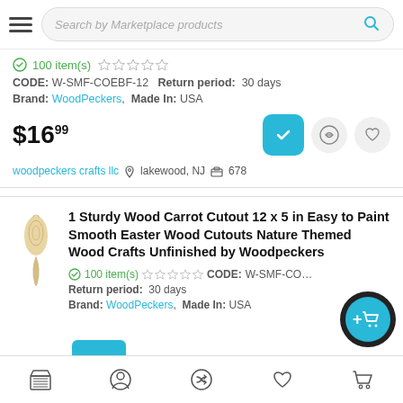[Figure (screenshot): Mobile marketplace app header with hamburger menu and search bar labeled 'Search by Marketplace products' with cyan search icon]
100 item(s) ☆☆☆☆☆
CODE: W-SMF-COEBF-12  Return period:  30 days
Brand: WoodPeckers,  Made In:  USA
$16.99
woodpeckers crafts llc  📍 lakewood, NJ  🏬 678
1 Sturdy Wood Carrot Cutout 12 x 5 in Easy to Paint Smooth Easter Wood Cutouts Nature Themed Wood Crafts Unfinished by Woodpeckers
100 item(s) ☆☆☆☆☆  CODE: W-SMF-CO...
Return period:  30 days
Brand: WoodPeckers,  Made In:  USA